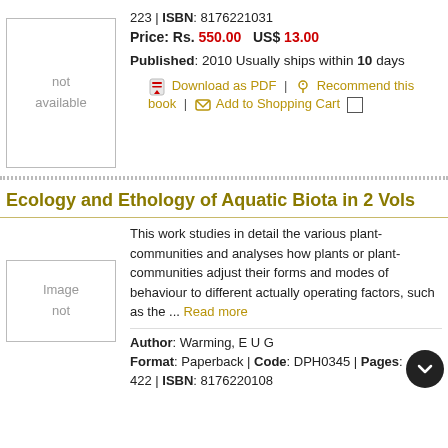[Figure (illustration): Book cover placeholder reading 'not available']
Pages: 223 | ISBN: 8176221031
Price: Rs. 550.00   US$ 13.00
Published: 2010 Usually ships within 10 days
Download as PDF | Recommend this book | Add to Shopping Cart
Ecology and Ethology of Aquatic Biota in 2 Vols
This work studies in detail the various plant-communities and analyses how plants or plant-communities adjust their forms and modes of behaviour to different actually operating factors, such as the ... Read more
Author: Warming, E U G
Format: Paperback | Code: DPH0345 | Pages: 422 | ISBN: 8176220108
[Figure (illustration): Book cover placeholder reading 'Image not']